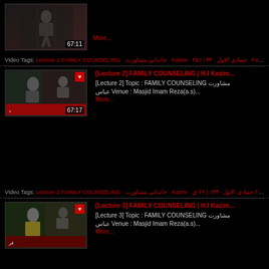[Figure (screenshot): Video thumbnail with duration 67:11 showing lecture speaker]
More...
Video Tags: Lecture 1 FAMILY COUNSELING خاندانی مشاورت Kazim جمادی الاول ۱۴۴۰ | ۲۵ Feb 2019 رضویہ فیز ۲ سوسائٹی 01
[Figure (screenshot): Video thumbnail with duration 67:17 and heart icon showing lecture speaker]
[Lecture 2] FAMILY COUNSELING | H.I Kazim...
[Lecture 2] Topic : FAMILY COUNSELING مشاورت عباس Venue : Masjid Imam Reza(a.s)...
More...
Video Tags: Lecture 2 FAMILY COUNSELING خاندانی مشاورت Kazim جمادی الاول ۱۴۴۰ | ۲۶ ق Feb 2019 رضویہ فیز ۲ سوسائٹی Wisd 02
[Figure (screenshot): Video thumbnail with heart icon showing lecture speaker in yellow/green outfit]
[Lecture 3] FAMILY COUNSELING | H.I Kazim...
[Lecture 3] Topic : FAMILY COUNSELING مشاورت عباس Venue : Masjid Imam Reza(a.s)...
More...